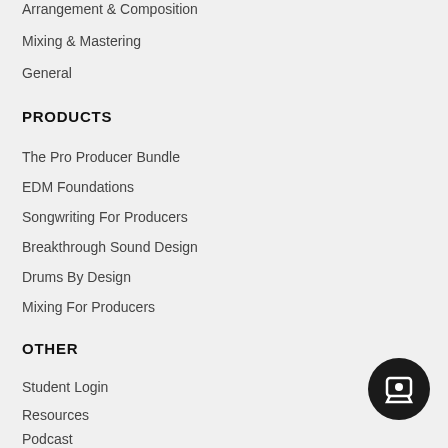Arrangement & Composition
Mixing & Mastering
General
PRODUCTS
The Pro Producer Bundle
EDM Foundations
Songwriting For Producers
Breakthrough Sound Design
Drums By Design
Mixing For Producers
OTHER
Student Login
Resources
Podcast
Facebook Community